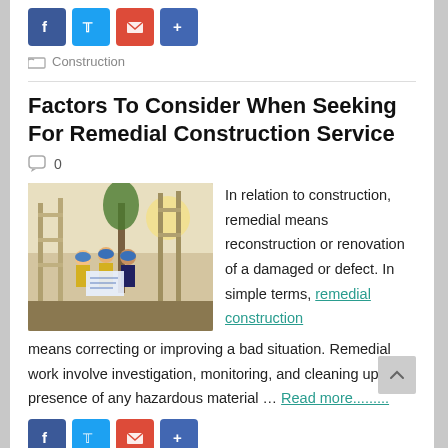[Figure (infographic): Social media share icons: Facebook, Twitter, Email, Share]
Construction
Factors To Consider When Seeking For Remedial Construction Service
0
[Figure (photo): Three construction workers in yellow vests and blue hard hats reviewing blueprints at a construction site]
In relation to construction, remedial means reconstruction or renovation of a damaged or defect. In simple terms, remedial construction means correcting or improving a bad situation. Remedial work involve investigation, monitoring, and cleaning up the presence of any hazardous material … Read more..........
[Figure (infographic): Social media share icons: Facebook, Twitter, Email, Share]